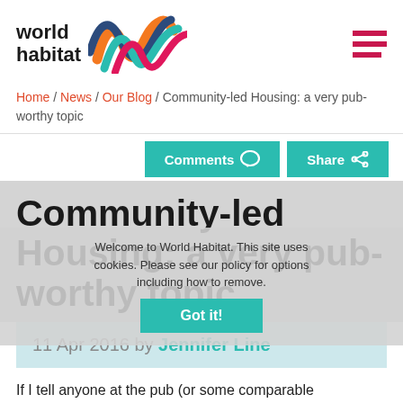world habitat
Home / News / Our Blog / Community-led Housing: a very pub-worthy topic
Comments  Share
Community-led Housing: a very pub-worthy topic
Welcome to World Habitat. This site uses cookies. Please see our policy for options including how to remove. Got it!
11 Apr 2016 by Jennifer Line
If I tell anyone at the pub (or some comparable